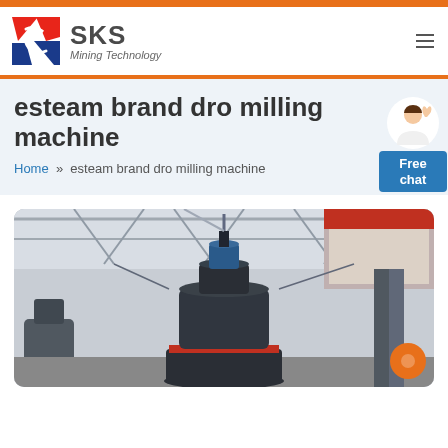[Figure (logo): SKS Mining Technology logo with red and blue shield icon and company name]
esteam brand dro milling machine
Home » esteam brand dro milling machine
[Figure (photo): Large industrial milling machine inside a factory/warehouse facility with steel roof structure]